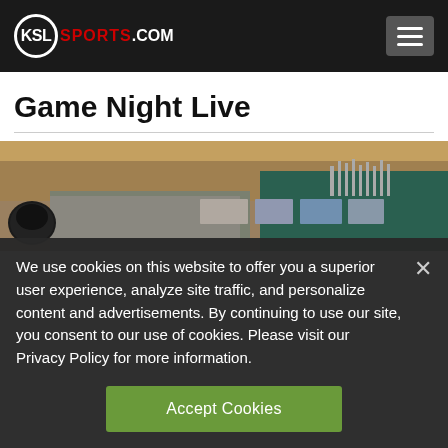KSL SPORTS.COM
Game Night Live
[Figure (photo): Exterior photo of a sports stadium or arena building with rocky hillside in the background and a football helmet visible in the foreground.]
We use cookies on this website to offer you a superior user experience, analyze site traffic, and personalize content and advertisements. By continuing to use our site, you consent to our use of cookies. Please visit our Privacy Policy for more information.
Accept Cookies